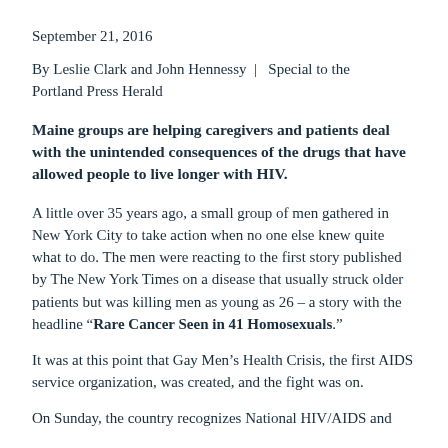September 21, 2016
By Leslie Clark and John Hennessy  |   Special to the Portland Press Herald
Maine groups are helping caregivers and patients deal with the unintended consequences of the drugs that have allowed people to live longer with HIV.
A little over 35 years ago, a small group of men gathered in New York City to take action when no one else knew quite what to do. The men were reacting to the first story published by The New York Times on a disease that usually struck older patients but was killing men as young as 26 – a story with the headline “Rare Cancer Seen in 41 Homosexuals.”
It was at this point that Gay Men's Health Crisis, the first AIDS service organization, was created, and the fight was on.
On Sunday, the country recognizes National HIV/AIDS and